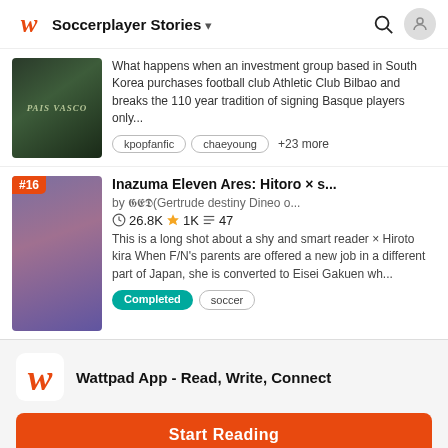Soccerplayer Stories
[Figure (screenshot): Book cover with 'PAIS VASCO' text on a dark green jersey background]
What happens when an investment group based in South Korea purchases football club Athletic Club Bilbao and breaks the 110 year tradition of signing Basque players only...
kpopfanfic   chaeyoung   +23 more
#16  Inazuma Eleven Ares: Hitoro × s...
by 𝕲𝕰𝕯(Gertrude destiny Dineo o...
26.8K ★1K 47
This is a long shot about a shy and smart reader × Hiroto kira When F/N's parents are offered a new job in a different part of Japan, she is converted to Eisei Gakuen wh...
Completed   soccer
Wattpad App - Read, Write, Connect
Start Reading
Log in with Browser